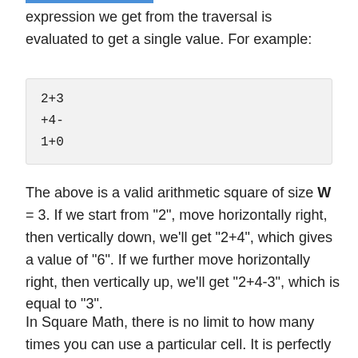expression we get from the traversal is evaluated to get a single value. For example:
2+3
+4-
1+0
The above is a valid arithmetic square of size W = 3. If we start from "2", move horizontally right, then vertically down, we'll get "2+4", which gives a value of "6". If we further move horizontally right, then vertically up, we'll get "2+4-3", which is equal to "3".
In Square Math, there is no limit to how many times you can use a particular cell. It is perfectly legal to move from a cell to its neighbor, then back to the original cell. Given an arithmetic square and a list of queries, your task is to find a Square Math expression which